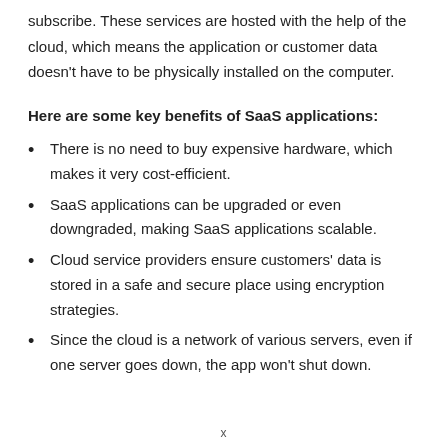subscribe. These services are hosted with the help of the cloud, which means the application or customer data doesn't have to be physically installed on the computer.
Here are some key benefits of SaaS applications:
There is no need to buy expensive hardware, which makes it very cost-efficient.
SaaS applications can be upgraded or even downgraded, making SaaS applications scalable.
Cloud service providers ensure customers' data is stored in a safe and secure place using encryption strategies.
Since the cloud is a network of various servers, even if one server goes down, the app won't shut down.
x